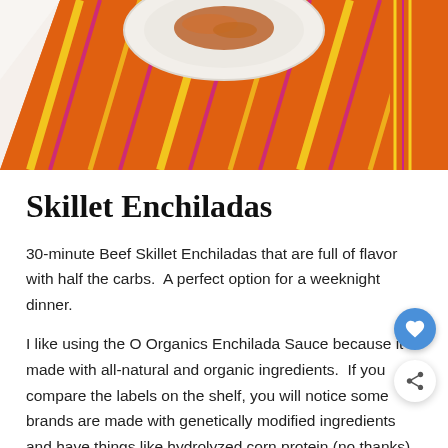[Figure (photo): Food photo showing a plate of skillet enchiladas on a colorful orange, red, and yellow striped cloth/napkin against a marble surface.]
Skillet Enchiladas
30-minute Beef Skillet Enchiladas that are full of flavor with half the carbs.  A perfect option for a weeknight dinner.
I like using the O Organics Enchilada Sauce because it is made with all-natural and organic ingredients.  If you compare the labels on the shelf, you will notice some brands are made with genetically modified ingredients and have things like hydrolyzed corn protein (no thanks).